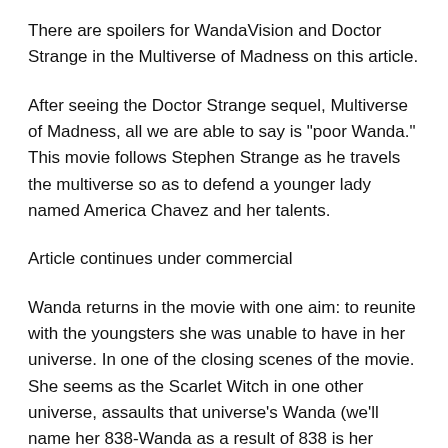There are spoilers for WandaVision and Doctor Strange in the Multiverse of Madness on this article.
After seeing the Doctor Strange sequel, Multiverse of Madness, all we are able to say is "poor Wanda." This movie follows Stephen Strange as he travels the multiverse so as to defend a younger lady named America Chavez and her talents.
Article continues under commercial
Wanda returns in the movie with one aim: to reunite with the youngsters she was unable to have in her universe. In one of the closing scenes of the movie. She seems as the Scarlet Witch in one other universe, assaults that universe's Wanda (we'll name her 838-Wanda as a result of 838 is her universe's quantity), and tries to persuade 838-Wanda's youngsters to be part of her.
Advertisement continues under the supply: Marvel Entertainment